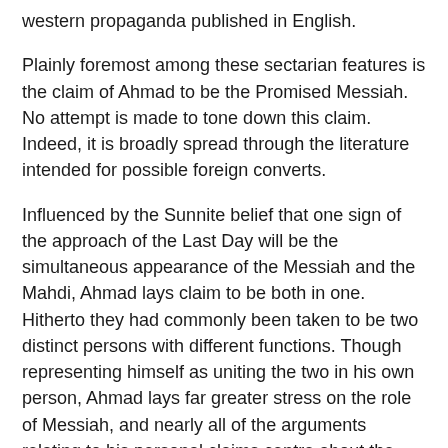western propaganda published in English.
Plainly foremost among these sectarian features is the claim of Ahmad to be the Promised Messiah. No attempt is made to tone down this claim. Indeed, it is broadly spread through the literature intended for possible foreign converts.
Influenced by the Sunnite belief that one sign of the approach of the Last Day will be the simultaneous appearance of the Messiah and the Mahdi, Ahmad lays claim to be both in one. Hitherto they had commonly been taken to be two distinct persons with different functions. Though representing himself as uniting the two in his own person, Ahmad lays far greater stress on the role of Messiah, and nearly all of the arguments relating to his personal claims centre about the Messiahship.